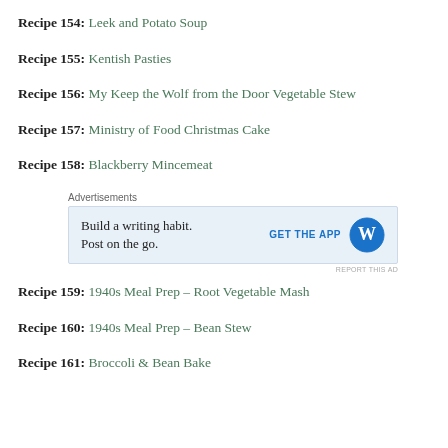Recipe 154: Leek and Potato Soup
Recipe 155: Kentish Pasties
Recipe 156: My Keep the Wolf from the Door Vegetable Stew
Recipe 157: Ministry of Food Christmas Cake
Recipe 158: Blackberry Mincemeat
[Figure (other): Advertisement for WordPress app: 'Build a writing habit. Post on the go.' with GET THE APP button and WordPress logo]
Recipe 159: 1940s Meal Prep – Root Vegetable Mash
Recipe 160: 1940s Meal Prep – Bean Stew
Recipe 161: Broccoli & Bean Bake